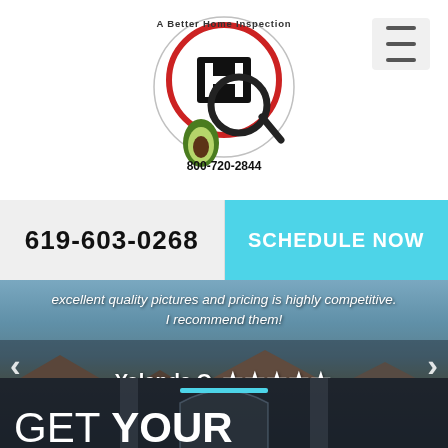[Figure (logo): A Better Home Inspection company logo with magnifying glass, letter H, avocado, and phone number 800-720-2844]
[Figure (other): Hamburger menu icon (three horizontal lines) in light gray box]
619-603-0268
SCHEDULE NOW
excellent quality pictures and pricing is highly competitive. I recommend them!
Yolanda O. ★★★★★
GET YOUR PROPERTY INSPECTION